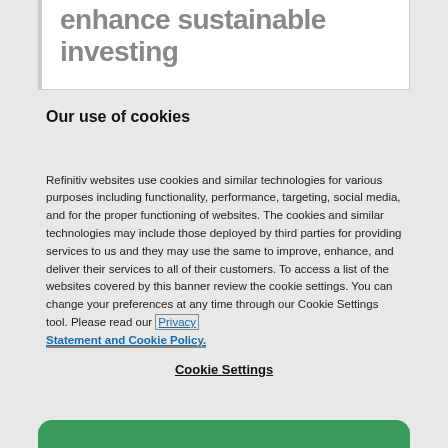enhance sustainable investing
Our use of cookies
Refinitiv websites use cookies and similar technologies for various purposes including functionality, performance, targeting, social media, and for the proper functioning of websites. The cookies and similar technologies may include those deployed by third parties for providing services to us and they may use the same to improve, enhance, and deliver their services to all of their customers. To access a list of the websites covered by this banner review the cookie settings. You can change your preferences at any time through our Cookie Settings tool. Please read our Privacy Statement and Cookie Policy.
Cookie Settings